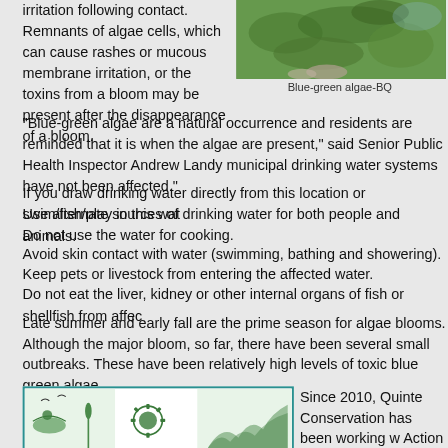irritation following contact. Remnants of algae cells, which can cause rashes or mucous membrane irritation, or the toxins from a bloom may be present after the disappearance of a bloom.
[Figure (photo): Aerial or close-up photo of blue-green algae bloom on water surface, showing green algae mass]
Blue-green algae-BQ
“Blue-green algae are a natural occurrence and residents are reminded that it is when the algae are present,” said Senior Public Health Inspector Andrew Landy municipal drinking water systems have not been affected.”
If you draw drinking water directly from this location or swim/fish/play in this wat
Use alternate sources of drinking water for both people and animals.
Do not use the water for cooking.
Avoid skin contact with water (swimming, bathing and showering).
Keep pets or livestock from entering the affected water.
Do not eat the liver, kidney or other internal organs of fish or shellfish from affec
Late summer and early fall are the prime season for algae blooms. Although the major bloom, so far, there have been several small outbreaks. These have been relatively high levels of toxic blue green algae.
[Figure (logo): Quinte Conservation logo in teal border box with wildlife and nature imagery]
Since 2010, Quinte Conservation has been working w Action Plan, the federal government, provincial gover